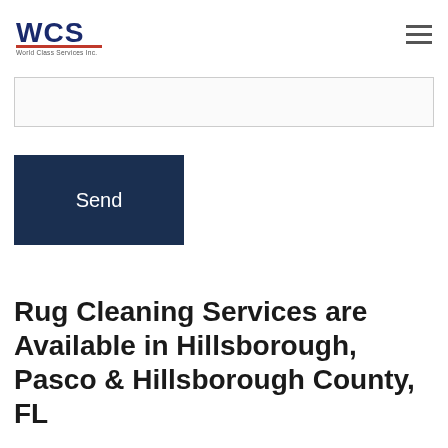WCS World Class Services Inc. [logo] [hamburger menu]
[Figure (other): Partially visible text area input field with resize handle at bottom right]
[Figure (other): Dark navy blue Send button]
Rug Cleaning Services are Available in Hillsborough, Pasco & Hillsborough County, FL